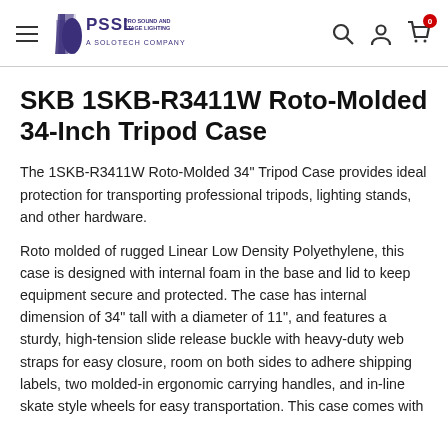PSSL Pro Sound and Stage Lighting — A Solotech Company
SKB 1SKB-R3411W Roto-Molded 34-Inch Tripod Case
The 1SKB-R3411W Roto-Molded 34" Tripod Case provides ideal protection for transporting professional tripods, lighting stands, and other hardware.
Roto molded of rugged Linear Low Density Polyethylene, this case is designed with internal foam in the base and lid to keep equipment secure and protected. The case has internal dimension of 34" tall with a diameter of 11", and features a sturdy, high-tension slide release buckle with heavy-duty web straps for easy closure, room on both sides to adhere shipping labels, two molded-in ergonomic carrying handles, and in-line skate style wheels for easy transportation. This case comes with SKB's...